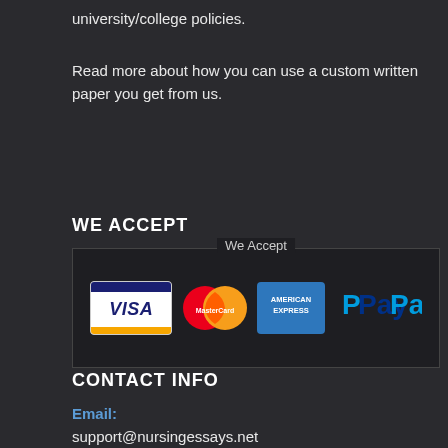university/college policies.
Read more about how you can use a custom written paper you get from us.
WE ACCEPT
[Figure (infographic): Payment methods banner showing Visa, MasterCard, American Express, and PayPal logos inside a bordered box with 'We Accept' label at top]
CONTACT INFO
Email:
support@nursingessays.net